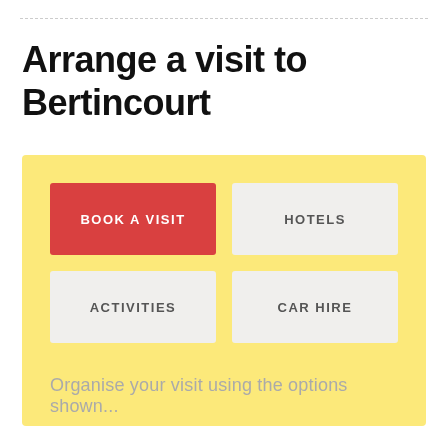Arrange a visit to Bertincourt
[Figure (screenshot): Yellow panel with four navigation buttons: 'BOOK A VISIT' (red), 'HOTELS' (white), 'ACTIVITIES' (white), 'CAR HIRE' (white), and descriptive text 'Organise your visit using the options shown...']
Organise your visit using the options shown...